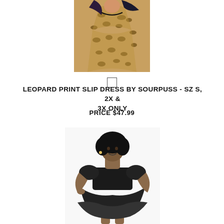[Figure (photo): Woman wearing a leopard print slip dress, posing against a wall. The dress has a fitted silhouette with black trim. Model has long dark purple-tipped hair.]
LEOPARD PRINT SLIP DRESS BY SOURPUSS - SZ S, 2X & 3X ONLY
PRICE $47.99
[Figure (photo): Woman wearing a black chiffon baby-doll style dress with puffed short sleeves, empire waist, and ruffled hem. Model poses against a white background.]